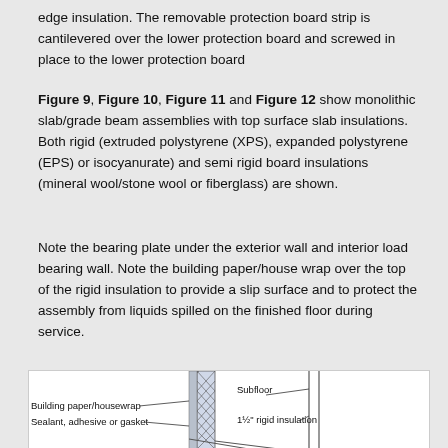edge insulation.  The removable protection board strip is cantilevered over the lower protection board and screwed in place to the lower protection board
Figure 9, Figure 10, Figure 11 and Figure 12 show monolithic slab/grade beam assemblies with top surface slab insulations.  Both rigid (extruded polystyrene (XPS), expanded polystyrene (EPS) or isocyanurate) and semi rigid board insulations (mineral wool/stone wool or fiberglass) are shown.
Note the bearing plate under the exterior wall and interior load bearing wall.  Note the building paper/house wrap over the top of the rigid insulation to provide a slip surface and to protect the assembly from liquids spilled on the finished floor during service.
[Figure (engineering-diagram): Partial engineering cross-section diagram showing building assembly details including building paper/housewrap, sealant/adhesive or gasket, subfloor, and 1½" rigid insulation labels with lead lines pointing to components.]